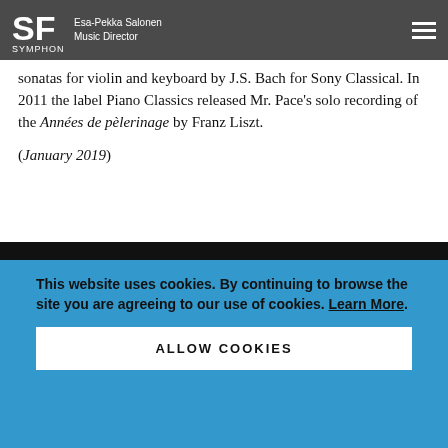SF Symphony — Esa-Pekka Salonen Music Director
sonatas for violin and keyboard by J.S. Bach for Sony Classical. In 2011 the label Piano Classics released Mr. Pace's solo recording of the Années de pèlerinage by Franz Liszt.
(January 2019)
This website uses cookies. By continuing to browse the site you are agreeing to our use of cookies. Learn More.
ALLOW COOKIES